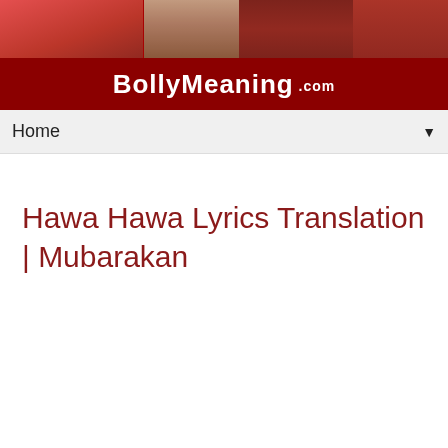[Figure (photo): Bollywood movie poster banner showing colorful film imagery with red tones]
BollyMeaning .com
Home ▼
Hawa Hawa Lyrics Translation | Mubarakan